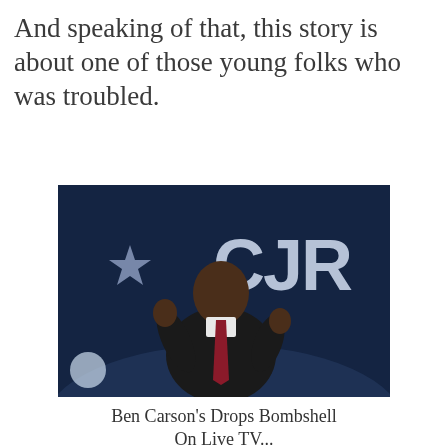And speaking of that, this story is about one of those young folks who was troubled.
[Figure (photo): Man in dark suit and burgundy tie speaking at a podium in front of a dark blue background with a star and partial text 'CJR']
Ben Carson's Drops Bombshell On Live TV...
Read More